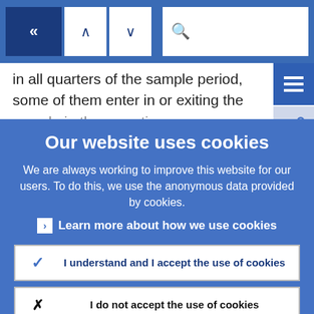[Figure (screenshot): Navigation bar with back arrows, up/down navigation arrows, and a search box on a blue background]
in all quarters of the sample period, some of them enter in or exiting the sample in the meantime.
Our website uses cookies
We are always working to improve this website for our users. To do this, we use the anonymous data provided by cookies.
Learn more about how we use cookies
I understand and I accept the use of cookies
I do not accept the use of cookies